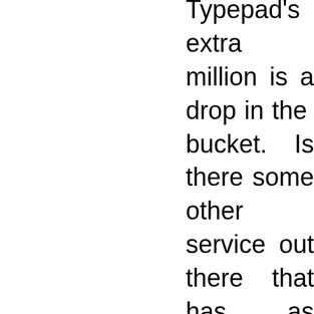Typepad's extra million is a drop in the bucket. Is there some other service out there that has as many users, or are people really just finally waking up to the fact that LJ is way huger than they realized?

Will volunteer development really go away? That would be